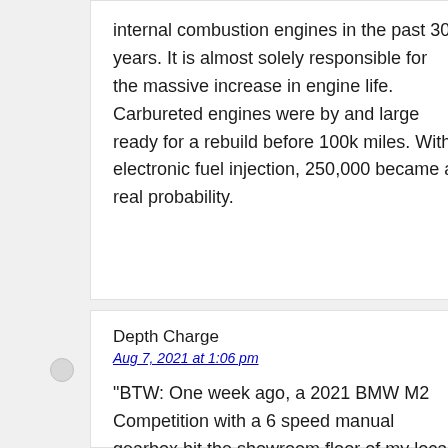internal combustion engines in the past 30 years. It is almost solely responsible for the massive increase in engine life. Carbureted engines were by and large ready for a rebuild before 100k miles. With electronic fuel injection, 250,000 became a real probability.
Depth Charge
Aug 7, 2021 at 1:06 pm
“BTW: One week ago, a 2021 BMW M2 Competition with a 6 speed manual gearbox hit the showroom floor of my local dealership. But it only lasted a couple of hours before